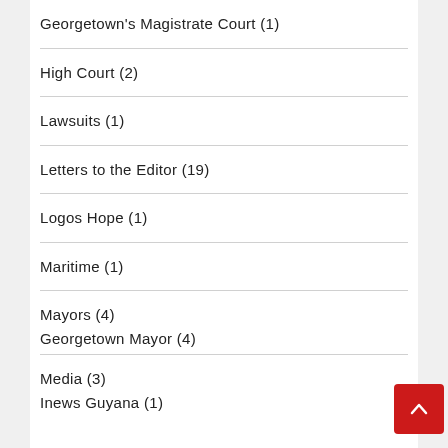Georgetown's Magistrate Court (1)
High Court (2)
Lawsuits (1)
Letters to the Editor (19)
Logos Hope (1)
Maritime (1)
Mayors (4)
Georgetown Mayor (4)
Media (3)
Inews Guyana (1)